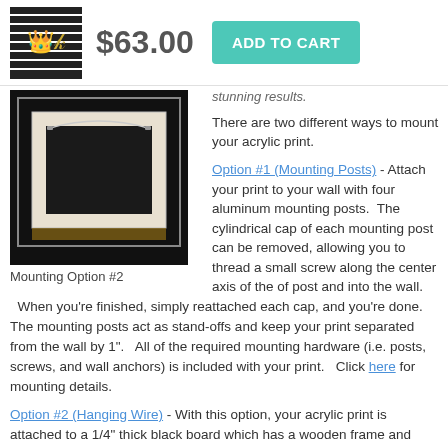[Figure (screenshot): Product thumbnail: decorative print with gold crown motif on black and white striped background]
$63.00
ADD TO CART
stunning results.
There are two different ways to mount your acrylic print.
[Figure (photo): Acrylic print mounted with hanging wire on black board, showing wooden frame and wire across top - Mounting Option #2]
Mounting Option #2
Option #1 (Mounting Posts) - Attach your print to your wall with four aluminum mounting posts.  The cylindrical cap of each mounting post can be removed, allowing you to thread a small screw along the center axis of the of post and into the wall.   When you're finished, simply reattached each cap, and you're done.   The mounting posts act as stand-offs and keep your print separated from the wall by 1".   All of the required mounting hardware (i.e. posts, screws, and wall anchors) is included with your print.   Click here for mounting details.
Option #2 (Hanging Wire) - With this option, your acrylic print is attached to a 1/4" thick black board which has a wooden frame and hanging wire attached to the back.   There are no metal mounting posts at the corners.   Simply put a nail in your wall, hang your print from the hanging wire, and you're done.   Due to the thickness of the black board and mounting frame, your print is separated from